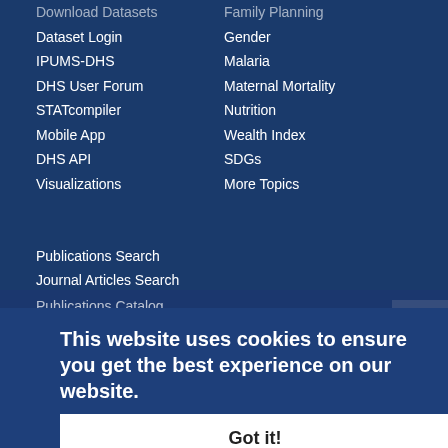Download Datasets
Dataset Login
IPUMS-DHS
DHS User Forum
STATcompiler
Mobile App
DHS API
Visualizations
Family Planning
Gender
Malaria
Maternal Mortality
Nutrition
Wealth Index
SDGs
More Topics
PUBLICATIONS
Publications Search
Journal Articles Search
Publications Catalog
This website uses cookies to ensure you get the best experience on our website.
Learn more
The information collected on this web site is part of official U.S. Government information operations and does not necessarily represent the views or endorsement of U.S. Government by deployment of the U.S. Government.
Got it!